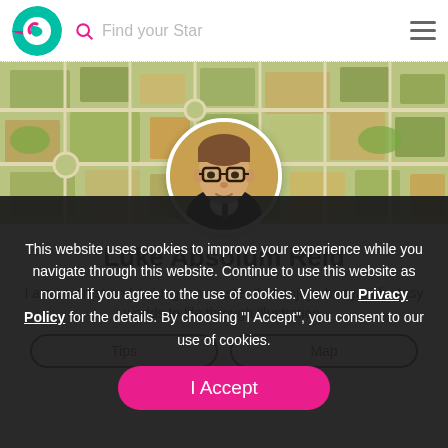[Figure (screenshot): App navbar with teal/pink logo, search icon labeled 'Find your Star', and hamburger menu]
[Figure (map): Aerial/illustrated map used as banner background]
[Figure (photo): Circular profile photo of a man with glasses in a dark blazer]
Luke Absolum Reid
I am an artist and a dungeon master that enjoys bringing fantasy worlds to life through illustration.
This website uses cookies to improve your experience while you navigate through this website. Continue to use this website as normal if you agree to the use of cookies. View our Privacy Policy for the details. By choosing "I Accept", you consent to our use of cookies.